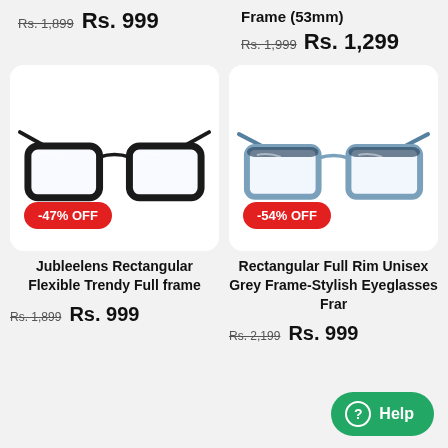Rs. 1,899  Rs. 999
Frame (53mm)
Rs. 1,999  Rs. 1,299
[Figure (photo): Black rectangular full rim eyeglasses frame with -47% OFF badge]
[Figure (photo): Grey rectangular full rim unisex eyeglasses frame with -54% OFF badge]
Jubleelens Rectangular Flexible Trendy Full frame
Rectangular Full Rim Unisex Grey Frame-Stylish Eyeglasses Frar...
Rs. 1,899  Rs. 999
Rs. 2,199  Rs. 999
Help